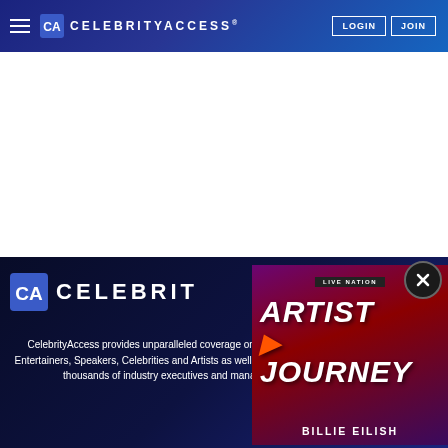CelebrityAccess navigation bar with LOGIN and JOIN buttons
[Figure (screenshot): White blank content area below navigation bar]
[Figure (screenshot): Dark blue CelebrityAccess footer section with logo and descriptive text]
CelebrityAccess provides unparalleled coverage on over 50,000 Entertainers, Speakers, Celebrities and Artists as well as, hundreds of thousands of industry executives and managers
[Figure (other): Live Nation Artist Journey ad overlay featuring Billie Eilish with close button]